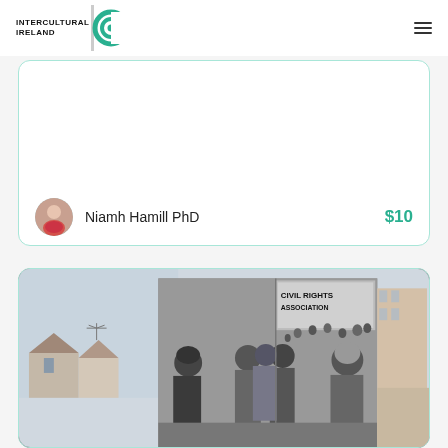Intercultural Ireland
Niamh Hamill PhD  $10
[Figure (photo): Black and white mural painted on the side of a building depicting a Civil Rights Association scene with soldiers and civilians. Text on mural reads 'CIVIL RIGHTS ASSOCIATION'.]